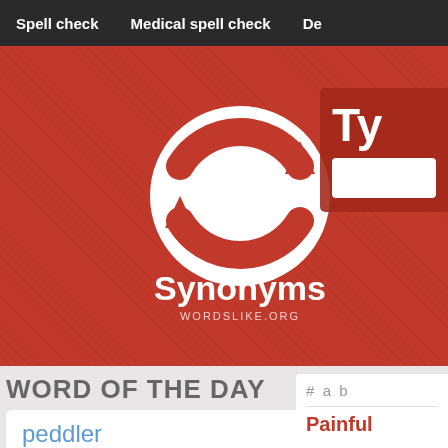Spell check   Medical spell check   De…
[Figure (logo): Synonyms / wordslike.org logo: red circle with two white/red circular arrows (sync icon), white text 'Synonyms' and 'WORDSLIKE.ORG' below on red background]
WORD OF THE DAY
peddler
# a b
Painful